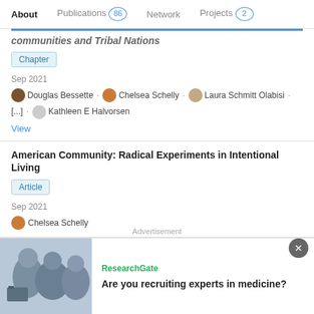About   Publications 86   Network   Projects 2
communities and Tribal Nations
Chapter
Sep 2021
Douglas Bessette · Chelsea Schelly · Laura Schmitt Olabisi · [...] · Kathleen E Halvorsen
View
American Community: Radical Experiments in Intentional Living
Article
Sep 2021
Chelsea Schelly
Advertisement
ResearchGate
Are you recruiting experts in medicine?